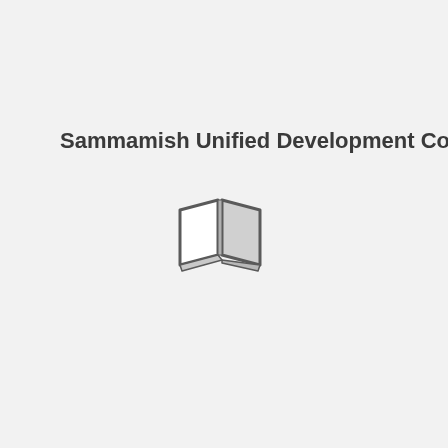Sammamish Unified Development Code
[Figure (illustration): An open book icon rendered in gray tones, showing two open pages with a slight 3D perspective effect. The pages are outlined in dark gray with light gray fill on the right page.]